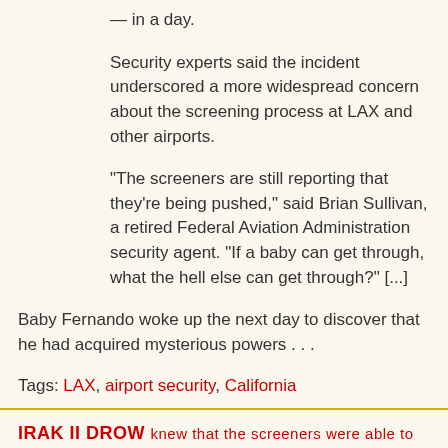— in a day.
Security experts said the incident underscored a more widespread concern about the screening process at LAX and other airports.
"The screeners are still reporting that they're being pushed," said Brian Sullivan, a retired Federal Aviation Administration security agent. "If a baby can get through, what the hell else can get through?" [...]
Baby Fernando woke up the next day to discover that he had acquired mysterious powers . . .
Tags: LAX, airport security, California
Yitzchak Goodman at 7:50 PM   No comments:
Share
IRAK II DROW ...